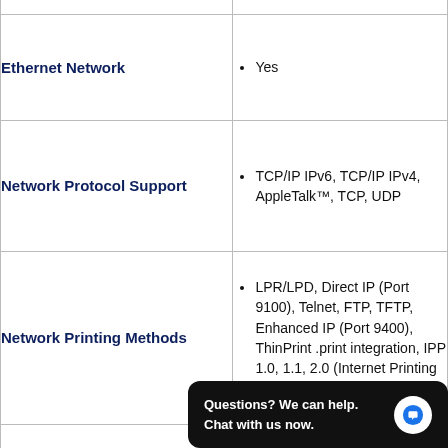| Feature | Details |
| --- | --- |
| Ethernet Network | Yes |
| Network Protocol Support | TCP/IP IPv6, TCP/IP IPv4, AppleTalk™, TCP, UDP |
| Network Printing Methods | LPR/LPD, Direct IP (Port 9100), Telnet, FTP, TFTP, Enhanced IP (Port 9400), ThinPrint .print integration, IPP 1.0, 1.1, 2.0 (Internet Printing Protocol) |
| (partial row) | DHCP, ARP... Bonjour, WINS, |